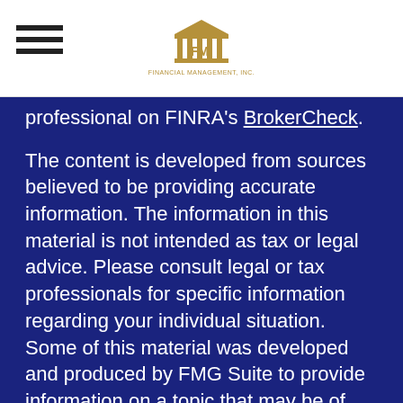[Figure (logo): FMI Financial Management Inc. logo with classical building/columns icon above FMI letters and 'FINANCIAL MANAGEMENT, INC.' text below]
professional on FINRA's BrokerCheck.
The content is developed from sources believed to be providing accurate information. The information in this material is not intended as tax or legal advice. Please consult legal or tax professionals for specific information regarding your individual situation. Some of this material was developed and produced by FMG Suite to provide information on a topic that may be of interest. FMG Suite is not affiliated with the named representative, broker - dealer, state - or SEC - registered investment advisory firm. The opinions expressed and material provided are for general information, and should not be considered a solicitation for the purchase or